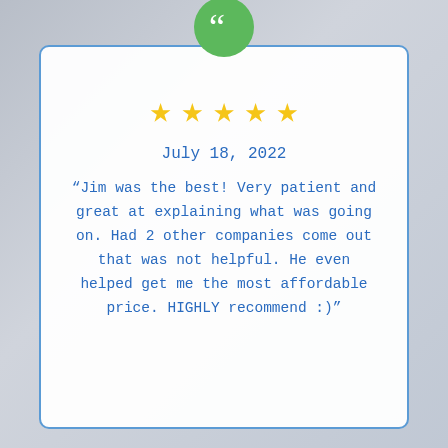[Figure (illustration): Green circular badge with white double quotation mark icon at top of review card]
[Figure (infographic): Five yellow star rating icons in a row]
July 18, 2022
“Jim was the best! Very patient and great at explaining what was going on. Had 2 other companies come out that was not helpful. He even helped get me the most affordable price. HIGHLY recommend :)”